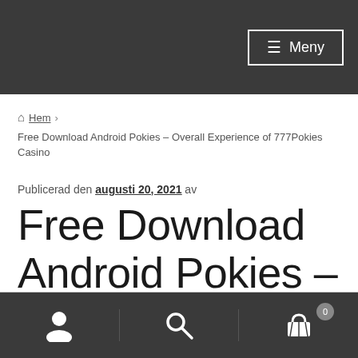≡ Meny
🏠 Hem › Free Download Android Pokies – Overall Experience of 777Pokies Casino
Publicerad den augusti 20, 2021 av
Free Download Android Pokies –
[user icon] [search icon] [cart icon] 0